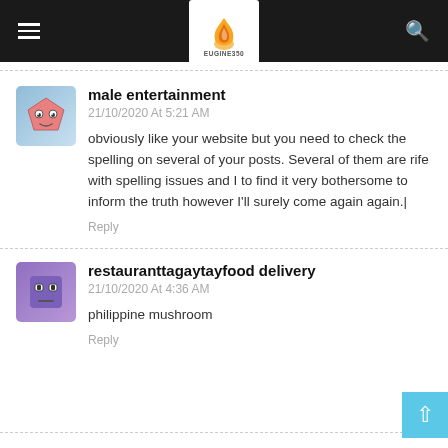EUGINE350 - navigation header with hamburger menu, logo, and search icon
male entertainment
21/10/2020 At 5:21 AM
obviously like your website but you need to check the spelling on several of your posts. Several of them are rife with spelling issues and I to find it very bothersome to inform the truth however I'll surely come again again.|
restauranttagaytayfood delivery
21/10/2020 At 4:36 AM
philippine mushroom